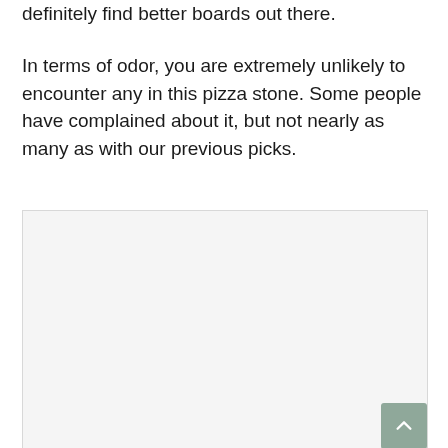definitely find better boards out there.
In terms of odor, you are extremely unlikely to encounter any in this pizza stone. Some people have complained about it, but not nearly as many as with our previous picks.
[Figure (other): A large light gray placeholder image area below the text content, with a scroll-to-top button in the bottom right corner.]